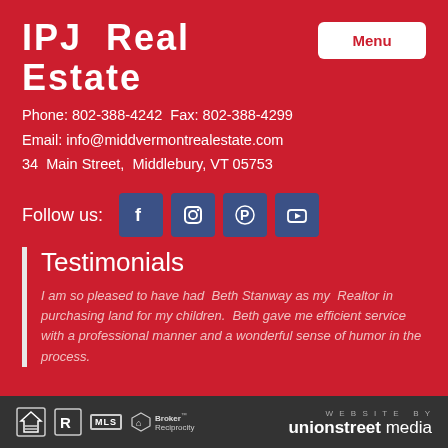IPJ Real Estate
Phone: 802-388-4242  Fax: 802-388-4299
Email: info@middvermontrealestate.com
34 Main Street, Middlebury, VT 05753
Follow us:
[Figure (infographic): Social media icons: Facebook, Instagram, Pinterest, YouTube]
Testimonials
I am so pleased to have had Beth Stanway as my Realtor in purchasing land for my children. Beth gave me efficient service with a professional manner and a wonderful sense of humor in the process.
Equal Housing Opportunity | Realtor | MLS | Broker Reciprocity | Website by unionstreet media